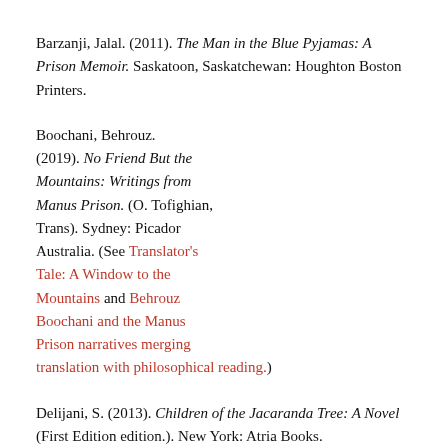Barzanji, Jalal. (2011). The Man in the Blue Pyjamas: A Prison Memoir. Saskatoon, Saskatchewan: Houghton Boston Printers.
Boochani, Behrouz. (2019). No Friend But the Mountains: Writings from Manus Prison. (O. Tofighian, Trans). Sydney: Picador Australia. (See Translator's Tale: A Window to the Mountains and Behrouz Boochani and the Manus Prison narratives merging translation with philosophical reading.)
Delijani, S. (2013). Children of the Jacaranda Tree: A Novel (First Edition edition.). New York: Atria Books.